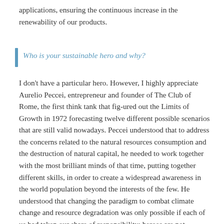applications, ensuring the continuous increase in the renewability of our products.
Who is your sustainable hero and why?
I don't have a particular hero. However, I highly appreciate Aurelio Peccei, entrepreneur and founder of The Club of Rome, the first think tank that fig-ured out the Limits of Growth in 1972 forecasting twelve different possible scenarios that are still valid nowadays. Peccei understood that to address the concerns related to the natural resources consumption and the destruction of natural capital, he needed to work together with the most brilliant minds of that time, putting together different skills, in order to create a widespread awareness in the world population beyond the interests of the few. He understood that changing the paradigm to combat climate change and resource degradation was only possible if each of us had taken our share of responsibility: heroes are not enough! Another interesting entrepreneur and financier was Raul Gardini. He acquired Montedison when I was a researcher